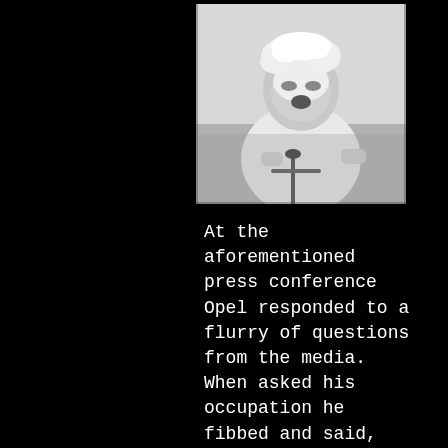[Figure (photo): Black and white photograph of a person sitting in a chair with whipped cream or shaving cream covering their face and head, wearing a white outfit, with a microphone stand visible in front of them.]
At the aforementioned press conference Opel responded to a flurry of questions from the media. When asked his occupation he fibbed and said, "advertising executive." The L.A. Times asked him his reasons for the stunt. "... it might've